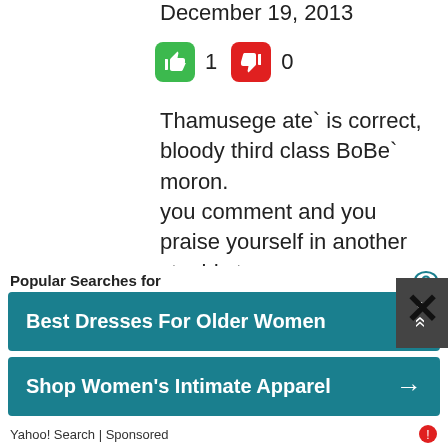December 19, 2013
[Figure (infographic): Thumbs up (green) with count 1, thumbs down (red) with count 0 voting buttons]
Thamusege ate` is correct, bloody third class BoBe` moron.
you comment and you praise yourself in another stupid stage name.
bankrupt MaRa fools.
Yes Darisha is new political strategist of the UNP. Whats the matter you A. h*?
Every other jouranlists have been bribed and bought by the ‘paithhtiyang’ king, at least this brave Girl and few others have courage to write what they wish.
[Figure (infographic): Close X button overlay]
Popular Searches for
[Figure (infographic): Advertisement button: Best Dresses For Older Women with arrow]
[Figure (infographic): Advertisement button: Shop Women's Intimate Apparel with arrow]
Yahoo! Search | Sponsored